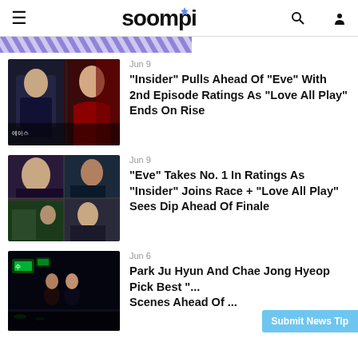soompi — hamburger menu, search, dark mode, user icons
[Figure (illustration): Diagonal blue/purple stripe decoration bar]
[Figure (photo): Article thumbnail: split image with male and female drama actors, dark moody tone]
Jun 9
“Insider” Pulls Ahead Of “Eve” With 2nd Episode Ratings As “Love All Play” Ends On Rise
[Figure (photo): Article thumbnail: grid of 4 drama stills — woman, man, couple scenes]
Jun 9
“Eve” Takes No. 1 In Ratings As “Insider” Joins Race + “Love All Play” Sees Dip Ahead Of Finale
[Figure (photo): Article thumbnail: dark night scene with two people outdoors]
Jun 6
Park Ju Hyun And Chae Jong Hyeop Pick Best “...” Scenes Ahead Of ...
Submit News Tip